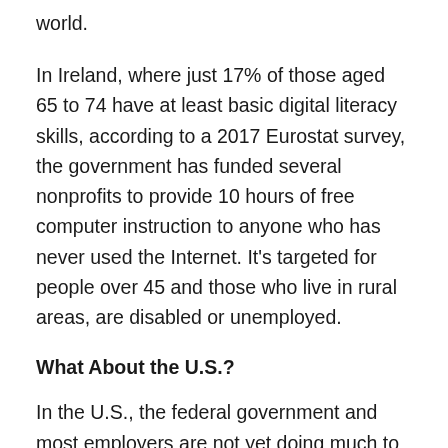world.
In Ireland, where just 17% of those aged 65 to 74 have at least basic digital literacy skills, according to a 2017 Eurostat survey, the government has funded several nonprofits to provide 10 hours of free computer instruction to anyone who has never used the Internet. It’s targeted for people over 45 and those who live in rural areas, are disabled or unemployed.
What About the U.S.?
In the U.S., the federal government and most employers are not yet doing much to address longevity. Yet, as Kerry Hannon wrote on MarketWatch, Americans 65 to 74 and age 75 and older are expected to have faster annual rates of